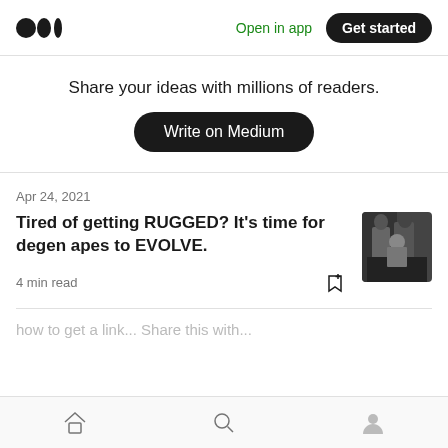Medium logo | Open in app | Get started
Share your ideas with millions of readers.
Write on Medium
Apr 24, 2021
Tired of getting RUGGED? It's time for degen apes to EVOLVE.
4 min read
Home | Search | Profile